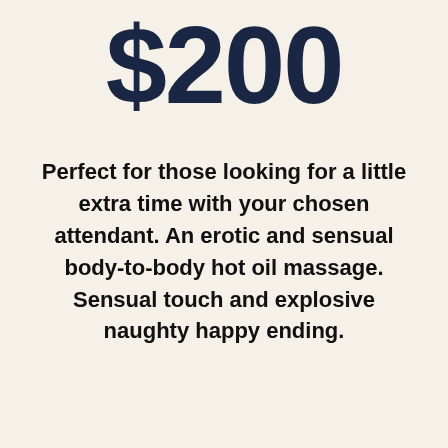$200
Perfect for those looking for a little extra time with your chosen attendant. An erotic and sensual body-to-body hot oil massage. Sensual touch and explosive naughty happy ending.